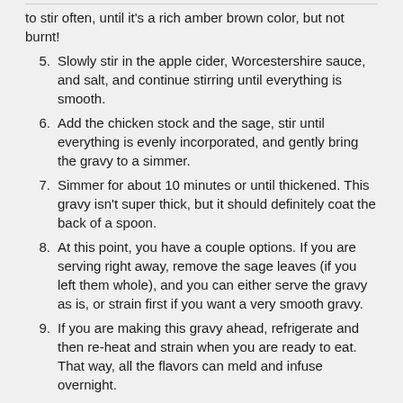to stir often, until it's a rich amber brown color, but not burnt!
5. Slowly stir in the apple cider, Worcestershire sauce, and salt, and continue stirring until everything is smooth.
6. Add the chicken stock and the sage, stir until everything is evenly incorporated, and gently bring the gravy to a simmer.
7. Simmer for about 10 minutes or until thickened. This gravy isn't super thick, but it should definitely coat the back of a spoon.
8. At this point, you have a couple options. If you are serving right away, remove the sage leaves (if you left them whole), and you can either serve the gravy as is, or strain first if you want a very smooth gravy.
9. If you are making this gravy ahead, refrigerate and then re-heat and strain when you are ready to eat. That way, all the flavors can meld and infuse overnight.
10. This recipe makes 1 quart of gravy.
Notes
Adapted from Rachael Ray.